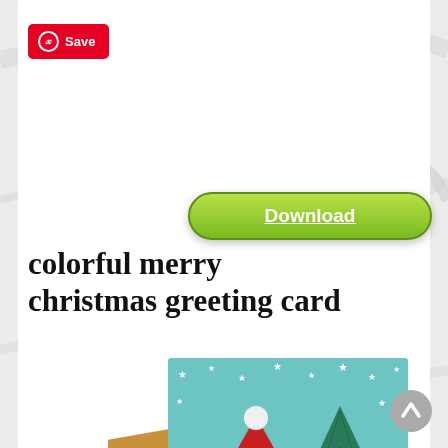[Figure (screenshot): Marble-textured white background with a Pinterest Save button in the top left, a green Download button, a title, and a Christmas greeting card image showing Santa Claus and a Christmas tree on a teal background with an envelope]
colorful merry christmas greeting card